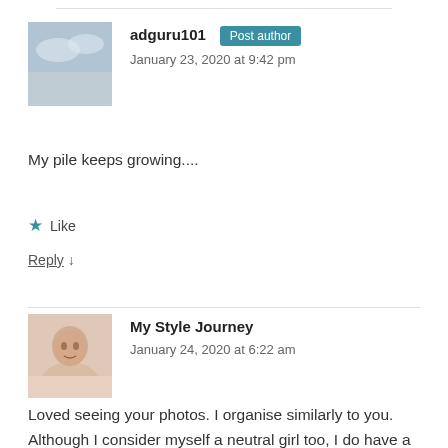adguru101 Post author
January 23, 2020 at 9:42 pm
My pile keeps growing....
Like
Reply ↓
My Style Journey
January 24, 2020 at 6:22 am
Loved seeing your photos. I organise similarly to you. Although I consider myself a neutral girl too, I do have a bit more colour in my own closet. My OCD doesn't allow me to